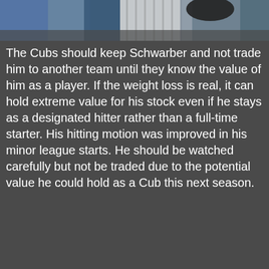[Figure (photo): Partial view of a baseball player in a white pinstripe uniform at the top of the page, with blurred background of other players and stadium elements.]
The Cubs should keep Schwarber and not trade him to another team until they know the value of him as a player. If the weight loss is real, it can hold extreme value for his stock even if he stays as a designated hitter rather than a full-time starter. His hitting motion was improved in his minor league starts. He should be watched carefully but not be traded due to the potential value he could hold as a Cub this next season.